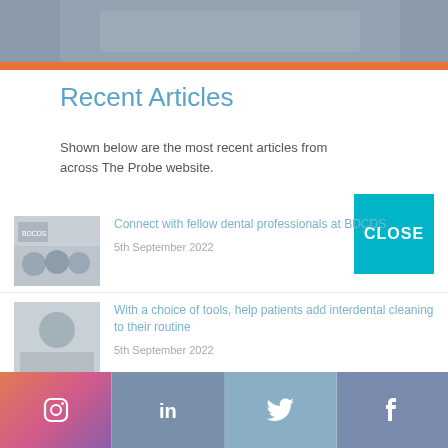[Figure (photo): Blurred background image at top of page]
Recent Articles
Shown below are the most recent articles from across The Probe website.
CLOSE
Connect with fellow dental professionals at BDCDS — 5th September 2022
Top tips for recruitment and retention – get your free guide today! — 5th September 2022
With a choice of tools, help patients add interdental cleaning to their routine — 5th September 2022
Stay clean with Kemdent
Instagram | LinkedIn | Twitter | Facebook